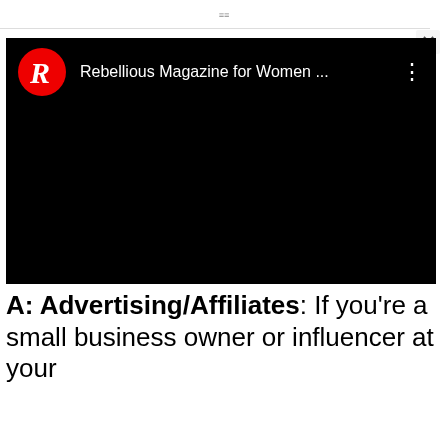[Figure (screenshot): YouTube video embed showing Rebellious Magazine for Women channel with red R logo, channel name 'Rebellious Magazine for Women ...' and three-dot menu, black video player area below]
A: Advertising/Affiliates: If you're a small business owner or influencer at your